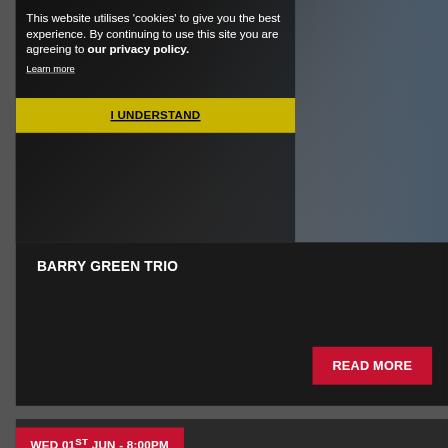[Figure (photo): Dark background with a man sitting, wearing glasses and a dark shirt, in a workshop-like setting with wooden elements]
This website utilises 'cookies' to give you the best experience. By continuing to use this site you are agreeing to our privacy policy.
Learn more
I UNDERSTAND
BARRY GREEN TRIO
READ MORE
WED 01ST JUN - 8:00PM